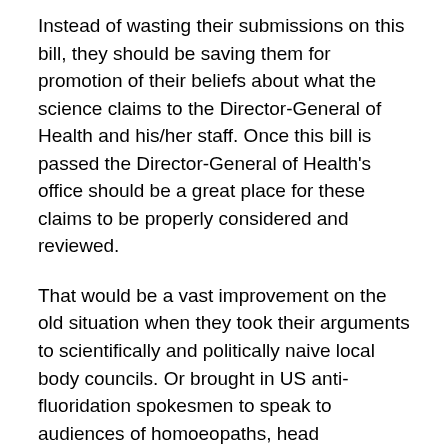Instead of wasting their submissions on this bill, they should be saving them for promotion of their beliefs about what the science claims to the Director-General of Health and his/her staff. Once this bill is passed the Director-General of Health's office should be a great place for these claims to be properly considered and reviewed.
That would be a vast improvement on the old situation when they took their arguments to scientifically and politically naive local body councils. Or brought in US anti-fluoridation spokesmen to speak to audiences of homoeopaths, head massagers and other alternative health advocates and their followers.
Or perhaps I am the naive one. Perhaps fluoridation opponents prefer to make their arguments to those local body councillors instead of scientifically capable people.